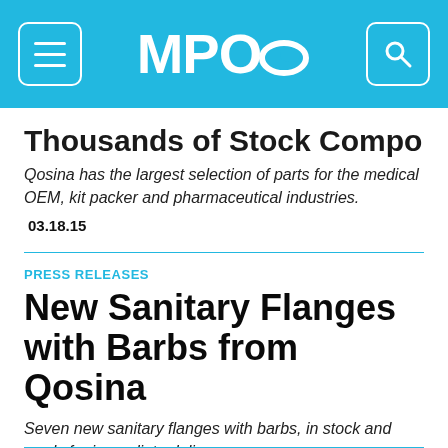MPO
Thousands of Stock Compon
Qosina has the largest selection of parts for the medical OEM, kit packer and pharmaceutical industries.
03.18.15
PRESS RELEASES
New Sanitary Flanges with Barbs from Qosina
Seven new sanitary flanges with barbs, in stock and ready for immediate delivery.
02.19.15